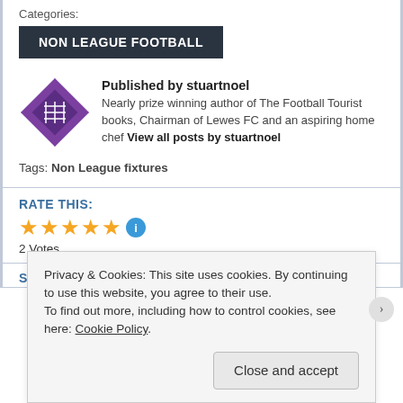Categories:
NON LEAGUE FOOTBALL
Published by stuartnoel
Nearly prize winning author of The Football Tourist books, Chairman of Lewes FC and an aspiring home chef View all posts by stuartnoel
Tags: Non League fixtures
RATE THIS:
2 Votes
SHARE THIS:
Privacy & Cookies: This site uses cookies. By continuing to use this website, you agree to their use.
To find out more, including how to control cookies, see here: Cookie Policy